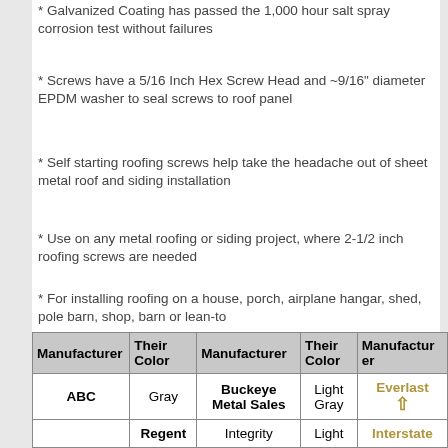* Galvanized Coating has passed the 1,000 hour salt spray corrosion test without failures
* Screws have a 5/16 Inch Hex Screw Head and ~9/16" diameter EPDM washer to seal screws to roof panel
* Self starting roofing screws help take the headache out of sheet metal roof and siding installation
* Use on any metal roofing or siding project, where 2-1/2 inch roofing screws are needed
* For installing roofing on a house, porch, airplane hangar, shed, pole barn, shop, barn or lean-to
* Rough Estimation - regular roofing project should require 80 screws per 10 x 10 section of roofing
| Manufacturer | Their Color | Manufacturer | Their Color | Manufacturer |
| --- | --- | --- | --- | --- |
| ABC | Gray | Buckeye Metal Sales | Light Gray | Everlast |
| (Ideal Roofing...) | Regent | Integrity | Light | Interstate |